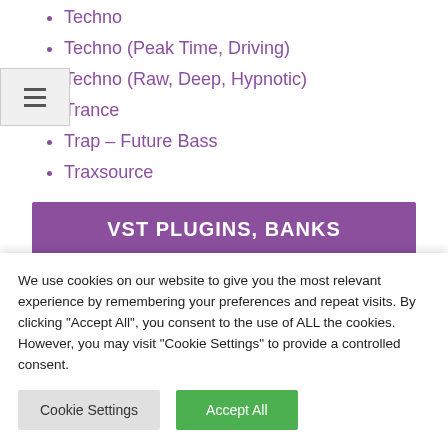Techno
Techno (Peak Time, Driving)
Techno (Raw, Deep, Hypnotic)
Trance
Trap – Future Bass
Traxsource
VST PLUGINS, BANKS
VST Plugins, VST Banks ( Sample packs, loops,
We use cookies on our website to give you the most relevant experience by remembering your preferences and repeat visits. By clicking "Accept All", you consent to the use of ALL the cookies. However, you may visit "Cookie Settings" to provide a controlled consent.